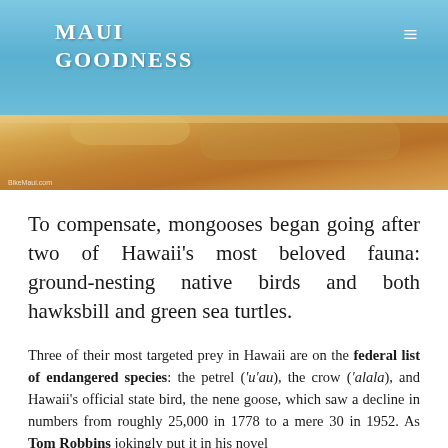Maui Goodness
[Figure (photo): Close-up photo of a furry brown animal (mongoose), warm golden-brown tones, with watermark 'BikeMaui.com' at bottom left]
To compensate, mongooses began going after two of Hawaii's most beloved fauna: ground-nesting native birds and both hawksbill and green sea turtles.
Three of their most targeted prey in Hawaii are on the federal list of endangered species: the petrel ('u'au), the crow ('alala), and Hawaii's official state bird, the nene goose, which saw a decline in numbers from roughly 25,000 in 1778 to a mere 30 in 1952. As Tom Robbins jokingly put it in his novel